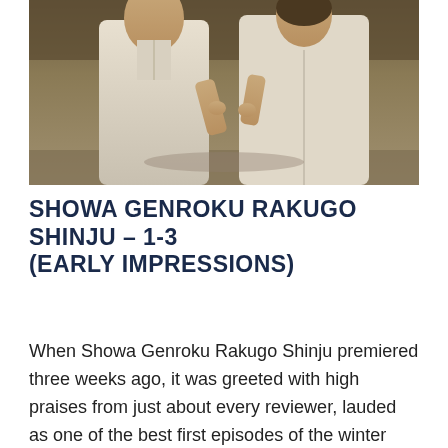[Figure (illustration): Anime screenshot showing two characters in white shirts/robes, appearing to be from Showa Genroku Rakugo Shinju. The scene is dimly lit with warm brown/green background tones.]
SHOWA GENROKU RAKUGO SHINJU – 1-3 (EARLY IMPRESSIONS)
When Showa Genroku Rakugo Shinju premiered three weeks ago, it was greeted with high praises from just about every reviewer, lauded as one of the best first episodes of the winter season. I was singing… Continue Reading…